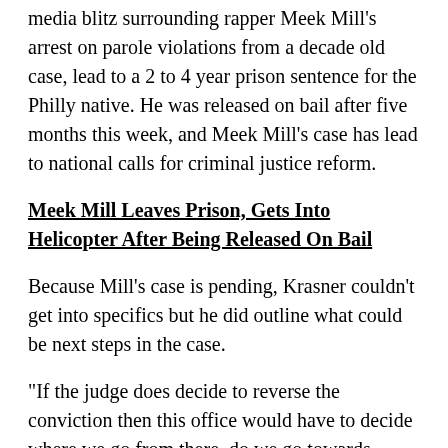media blitz surrounding rapper Meek Mill's arrest on parole violations from a decade old case, lead to a 2 to 4 year prison sentence for the Philly native. He was released on bail after five months this week, and Meek Mill's case has lead to national calls for criminal justice reform.
Meek Mill Leaves Prison, Gets Into Helicopter After Being Released On Bail
Because Mill's case is pending, Krasner couldn't get into specifics but he did outline what could be next steps in the case.
"If the judge does decide to reverse the conviction then this office would have to decide where we go from there, do we go towards dropping the case, do we go towards retrying the case, or do we go towards